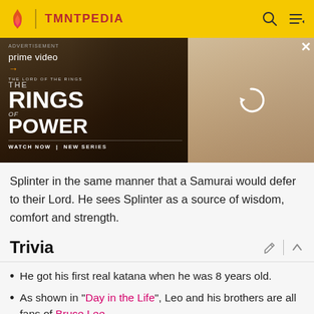TMNTPEDIA
[Figure (screenshot): Amazon Prime Video advertisement for 'The Lord of the Rings: The Rings of Power' showing a robed figure and characters. Text: ADVERTISEMENT, prime video, THE LORD OF THE RINGS, THE RINGS OF POWER, WATCH NOW | NEW SERIES]
Splinter in the same manner that a Samurai would defer to their Lord. He sees Splinter as a source of wisdom, comfort and strength.
Trivia
He got his first real katana when he was 8 years old.
As shown in "Day in the Life", Leo and his brothers are all fans of Bruce Lee.